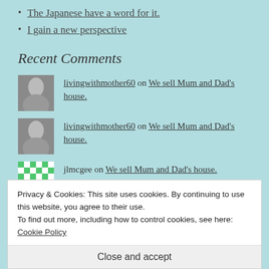The Japanese have a word for it.
I gain a new perspective
Recent Comments
livingwithmother60 on We sell Mum and Dad's house.
livingwithmother60 on We sell Mum and Dad's house.
jlmcgee on We sell Mum and Dad's house.
Privacy & Cookies: This site uses cookies. By continuing to use this website, you agree to their use.
To find out more, including how to control cookies, see here: Cookie Policy
Close and accept